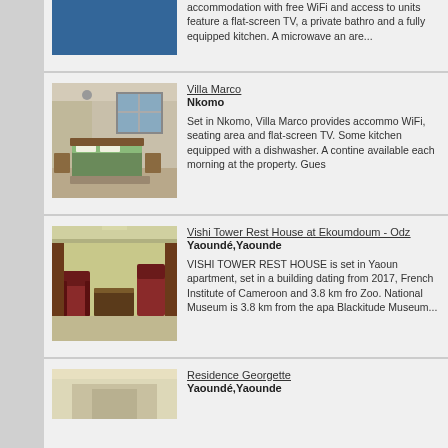[Figure (photo): Blue/dark teal rectangle - partial hotel/accommodation image at top]
accommodation with free WiFi and access to units feature a flat-screen TV, a private bathro and a fully equipped kitchen. A microwave an are...
[Figure (photo): Interior room photo showing a bed with green bedding, wooden furniture, and a window - Villa Marco]
Villa Marco
Nkomo
Set in Nkomo, Villa Marco provides accommo WiFi, seating area and flat-screen TV. Some kitchen equipped with a dishwasher. A contine available each morning at the property. Gues
[Figure (photo): Interior room photo showing wooden chairs and furniture in a sitting area with yellow walls - Vishi Tower Rest House]
Vishi Tower Rest House at Ekoumdoum - Odz
Yaoundé,Yaounde
VISHI TOWER REST HOUSE is set in Yaoun apartment, set in a building dating from 2017, French Institute of Cameroon and 3.8 km fro Zoo. National Museum is 3.8 km from the apa Blackitude Museum...
[Figure (photo): Partial image of Residence Georgette accommodation]
Residence Georgette
Yaoundé,Yaounde